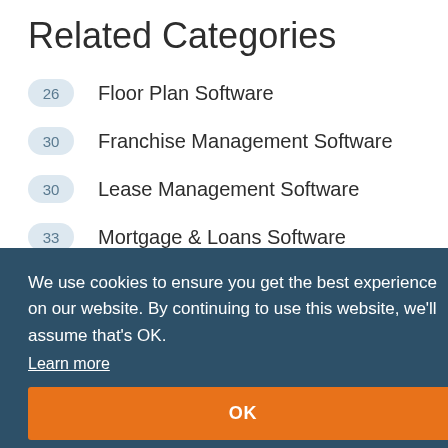Related Categories
26  Floor Plan Software
30  Franchise Management Software
30  Lease Management Software
33  Mortgage & Loans Software
We use cookies to ensure you get the best experience on our website. By continuing to use this website, we'll assume that's OK.
Learn more
OK
ce?
Welcome to the world's largest online marketplace for cloud